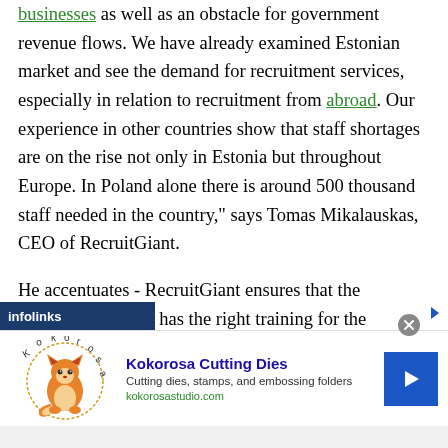businesses as well as an obstacle for government revenue flows. We have already examined Estonian market and see the demand for recruitment services, especially in relation to recruitment from abroad. Our experience in other countries show that staff shortages are on the rise not only in Estonia but throughout Europe. In Poland alone there is around 500 thousand staff needed in the country," says Tomas Mikalauskas, CEO of RecruitGiant.
He accentuates - RecruitGiant ensures that the candidate not only has the right training for the available role (by providing training in their home country) but also that all the necessary documentation and a formal employment contract are in place. This is part of a continuous effort to
[Figure (screenshot): Advertisement banner for Kokorosa Cutting Dies showing logo with fox mascot, title 'Kokorosa Cutting Dies', description 'Cutting dies, stamps, and embossing folders', URL 'kokorosastudio.com', and a blue arrow button. Infolinks label bar visible at top left of ad area.]